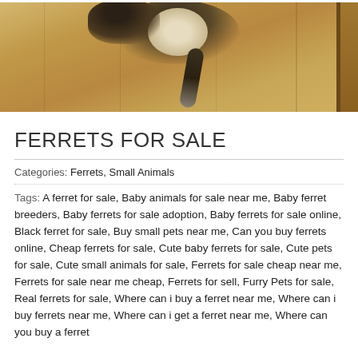[Figure (photo): A ferret photographed from above hanging or climbing on a wooden surface, showing fur in dark, cream, and grey tones against a wood grain background.]
FERRETS FOR SALE
Categories: Ferrets, Small Animals
Tags: A ferret for sale, Baby animals for sale near me, Baby ferret breeders, Baby ferrets for sale adoption, Baby ferrets for sale online, Black ferret for sale, Buy small pets near me, Can you buy ferrets online, Cheap ferrets for sale, Cute baby ferrets for sale, Cute pets for sale, Cute small animals for sale, Ferrets for sale cheap near me, Ferrets for sale near me cheap, Ferrets for sell, Furry Pets for sale, Real ferrets for sale, Where can i buy a ferret near me, Where can i buy ferrets near me, Where can i get a ferret near me, Where can you buy a ferret